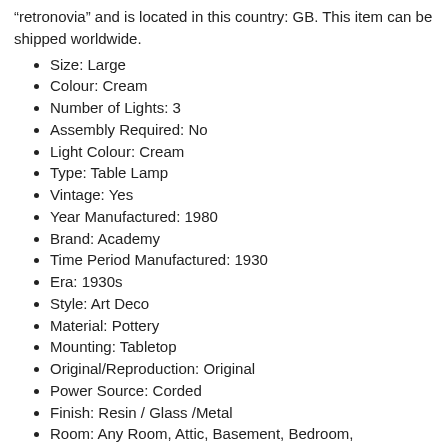“retronovia” and is located in this country: GB. This item can be shipped worldwide.
Size: Large
Colour: Cream
Number of Lights: 3
Assembly Required: No
Light Colour: Cream
Type: Table Lamp
Vintage: Yes
Year Manufactured: 1980
Brand: Academy
Time Period Manufactured: 1930
Era: 1930s
Style: Art Deco
Material: Pottery
Mounting: Tabletop
Original/Reproduction: Original
Power Source: Corded
Finish: Resin / Glass /Metal
Room: Any Room, Attic, Basement, Bedroom, Conservatory, Dining Room, Entryway
Control Style: Switch
Shade Shape: Bluebell
Design: Art Deco, Figural, Figurine, Lady, Bluebell